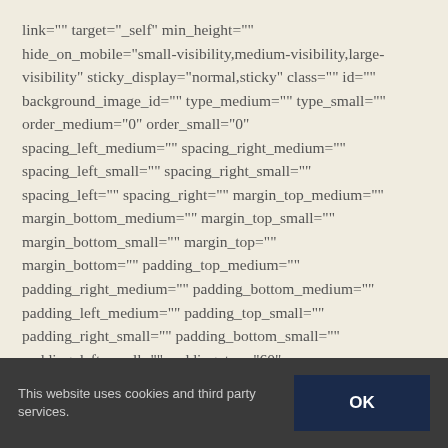link="" target="_self" min_height="" hide_on_mobile="small-visibility,medium-visibility,large-visibility" sticky_display="normal,sticky" class="" id="" background_image_id="" type_medium="" type_small="" order_medium="0" order_small="0" spacing_left_medium="" spacing_right_medium="" spacing_left_small="" spacing_right_small="" spacing_left="" spacing_right="" margin_top_medium="" margin_bottom_medium="" margin_top_small="" margin_bottom_small="" margin_top="" margin_bottom="" padding_top_medium="" padding_right_medium="" padding_bottom_medium="" padding_left_medium="" padding_top_small="" padding_right_small="" padding_bottom_small="" padding_left_small="" padding_top="60" padding_right="40" padding_bottom="60"
This website uses cookies and third party services.